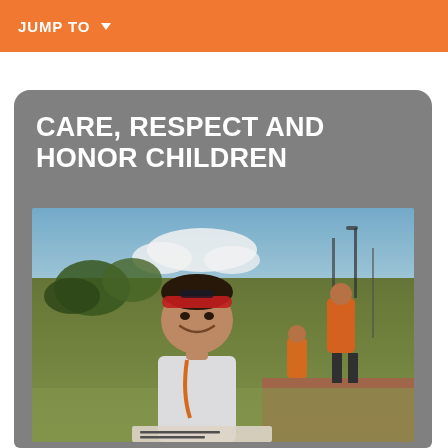JUMP TO ▼
CARE, RESPECT AND HONOR CHILDREN
[Figure (photo): A young smiling girl with a red headband wearing a white sleeveless top and an orange lanyard, standing outdoors at a sports venue. In the background, adults and another child wearing orange shirts are visible, along with a fence and court surface.]